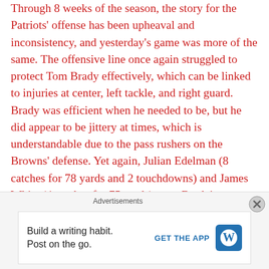Through 8 weeks of the season, the story for the Patriots' offense has been upheaval and inconsistency, and yesterday's game was more of the same. The offensive line once again struggled to protect Tom Brady effectively, which can be linked to injuries at center, left tackle, and right guard. Brady was efficient when he needed to be, but he did appear to be jittery at times, which is understandable due to the pass rushers on the Browns' defense. Yet again, Julian Edelman (8 catches for 78 yards and 2 touchdowns) and James White (4 catches for 75 yards) were Brady's top targets, and came through when he needed them. Edelman was the only Pats' receiver who appeared to consistently get separation, as evidenced by his two touchdowns in the red zone. White gained most of his yardage on a 59 yard screen pass that came on a crucial third down
Advertisements
Build a writing habit. Post on the go. GET THE APP